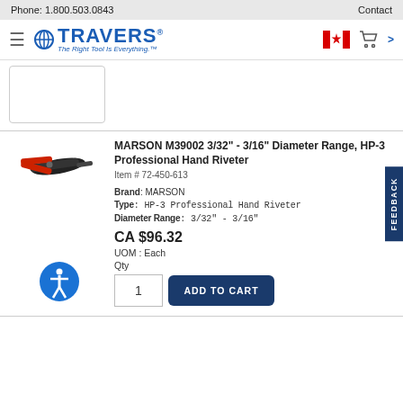Phone: 1.800.503.0843   Contact
[Figure (logo): Travers Tool Co. logo with globe icon and tagline 'The Right Tool Is Everything.']
[Figure (photo): MARSON HP-3 Professional Hand Riveter tool image - plier-style riveter with red handles]
MARSON M39002 3/32" - 3/16" Diameter Range, HP-3 Professional Hand Riveter
Item # 72-450-613
Brand: MARSON
Type: HP-3 Professional Hand Riveter
Diameter Range: 3/32" - 3/16"
CA $96.32
UOM : Each
Qty